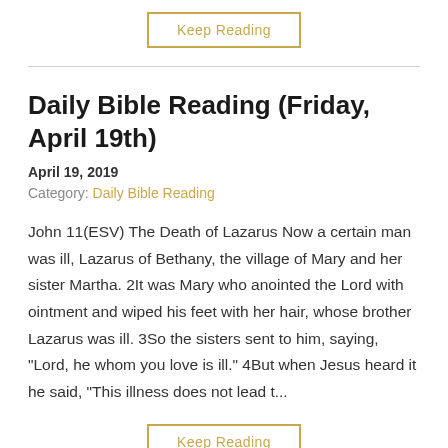Keep Reading
Daily Bible Reading (Friday, April 19th)
April 19, 2019
Category: Daily Bible Reading
John 11(ESV) The Death of Lazarus Now a certain man was ill, Lazarus of Bethany, the village of Mary and her sister Martha. 2It was Mary who anointed the Lord with ointment and wiped his feet with her hair, whose brother Lazarus was ill. 3So the sisters sent to him, saying, "Lord, he whom you love is ill." 4But when Jesus heard it he said, "This illness does not lead t...
Keep Reading